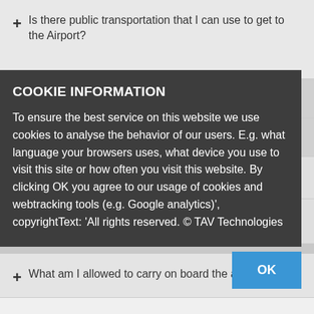+ Is there public transportation that I can use to get to the Airport?
+ What are the opening hours of the airport?
+ What is the earliest that I can check-in?
+ Where can I get more information about my flight?
+ What if I have additional questions about my flight?
+ What am I allowed to carry on board the aircraft and what are the fees for luggage?
COOKIE INFORMATION
To ensure the best service on this website we use cookies to analyse the behavior of our users. E.g. what language your browsers uses, what device you use to visit this site or how often you visit this website. By clicking OK you agree to our usage of cookies and webtracking tools (e.g. Google analytics)', copyrightText: 'All rights reserved. © TAV Technologies